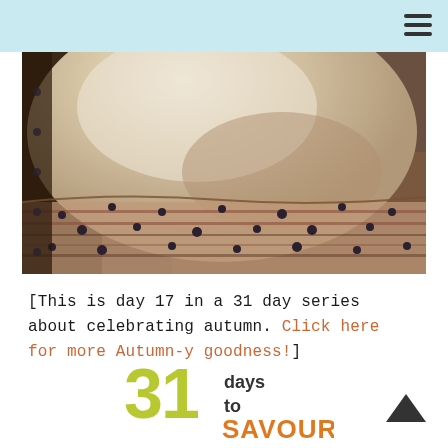[Figure (photo): Close-up photograph of a cream/beige rounded object resting on patterned textile fabric with red, purple, and dark dotted designs.]
[This is day 17 in a 31 day series about celebrating autumn. Click here for more Autumn-y goodness!]
[Figure (logo): 31 days to SAVOUR logo — '31' in large yellow-green text, 'days to' in dark text, 'SAVOUR' in large orange text]